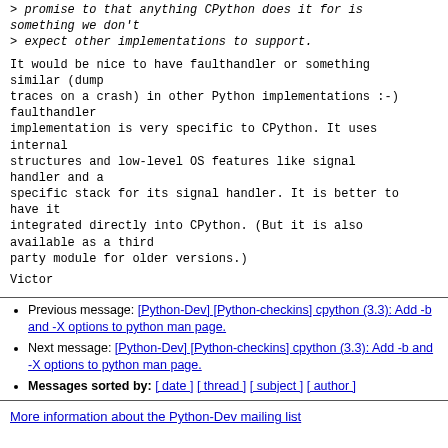> promise to that anything CPython does it for is something we don't
> expect other implementations to support.
It would be nice to have faulthandler or something similar (dump
traces on a crash) in other Python implementations :-) faulthandler
implementation is very specific to CPython. It uses internal
structures and low-level OS features like signal handler and a
specific stack for its signal handler. It is better to have it
integrated directly into CPython. (But it is also available as a third
party module for older versions.)
Victor
Previous message: [Python-Dev] [Python-checkins] cpython (3.3): Add -b and -X options to python man page.
Next message: [Python-Dev] [Python-checkins] cpython (3.3): Add -b and -X options to python man page.
Messages sorted by: [ date ] [ thread ] [ subject ] [ author ]
More information about the Python-Dev mailing list